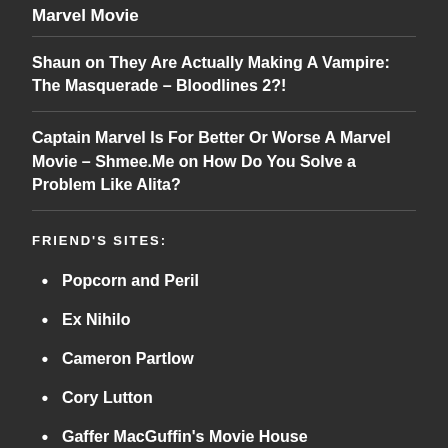Marvel Movie
Shaun on They Are Actually Making A Vampire: The Masquerade – Bloodlines 2?!
Captain Marvel Is For Better Or Worse A Marvel Movie – Shmee.Me on How Do You Solve a Problem Like Alita?
FRIEND'S SITES:
Popcorn and Peril
Ex Nihilo
Cameron Partlow
Cory Lutton
Gaffer MacGuffin's Movie House